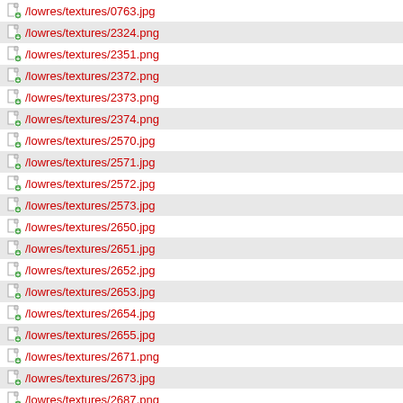/lowres/textures/0763.jpg
/lowres/textures/2324.png
/lowres/textures/2351.png
/lowres/textures/2372.png
/lowres/textures/2373.png
/lowres/textures/2374.png
/lowres/textures/2570.jpg
/lowres/textures/2571.jpg
/lowres/textures/2572.jpg
/lowres/textures/2573.jpg
/lowres/textures/2650.jpg
/lowres/textures/2651.jpg
/lowres/textures/2652.jpg
/lowres/textures/2653.jpg
/lowres/textures/2654.jpg
/lowres/textures/2655.jpg
/lowres/textures/2671.png
/lowres/textures/2673.jpg
/lowres/textures/2687.png
/lowres/textures/2708.jpg
/lowres/textures/2711.jpg
/lowres/textures/2713...